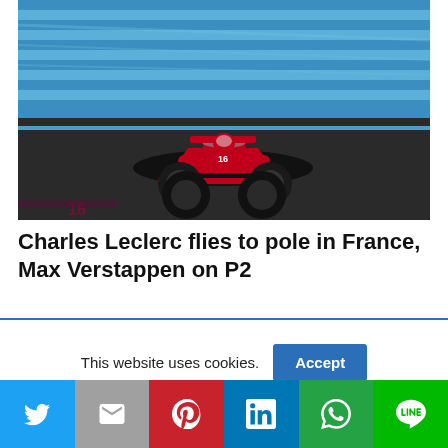[Figure (photo): A red Ferrari Formula 1 car racing on a circuit track with blue curbs and asphalt, motion blur in background, front-facing angle.]
Charles Leclerc flies to pole in France, Max Verstappen on P2
This website uses cookies.
[Figure (infographic): Social sharing bar with Twitter, Email, Pinterest, LinkedIn, WhatsApp, and LINE buttons.]